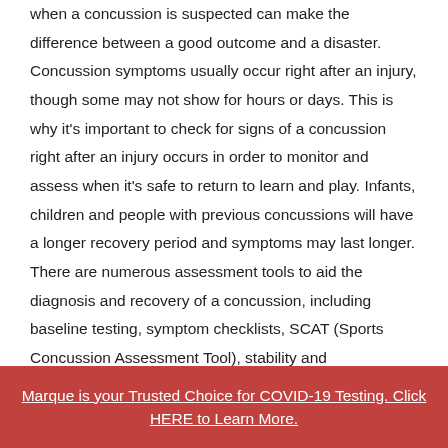when a concussion is suspected can make the difference between a good outcome and a disaster. Concussion symptoms usually occur right after an injury, though some may not show for hours or days. This is why it's important to check for signs of a concussion right after an injury occurs in order to monitor and assess when it's safe to return to learn and play. Infants, children and people with previous concussions will have a longer recovery period and symptoms may last longer. There are numerous assessment tools to aid the diagnosis and recovery of a concussion, including baseline testing, symptom checklists, SCAT (Sports Concussion Assessment Tool), stability and neuropsychological tests. Baseline testing is a pre-season
Marque is your Trusted Choice for COVID-19 Testing. Click HERE to Learn More.